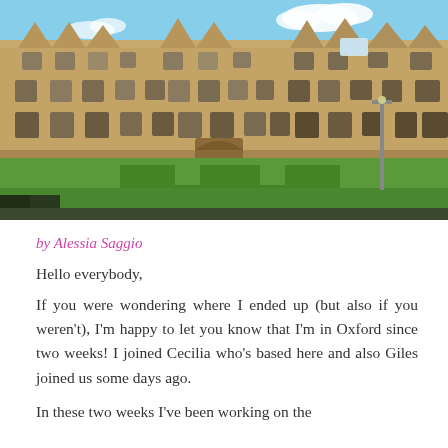[Figure (photo): Photograph of an Oxford college quadrangle showing historic Cotswold stone buildings with Gothic-style windows and gabled rooflines, a green lawn in the foreground with a decorative grass pattern, and blue sky above.]
by Alessia Saggio
Hello everybody,
If you were wondering where I ended up (but also if you weren't), I'm happy to let you know that I'm in Oxford since two weeks! I joined Cecilia who's based here and also Giles joined us some days ago.
In these two weeks I've been working on the